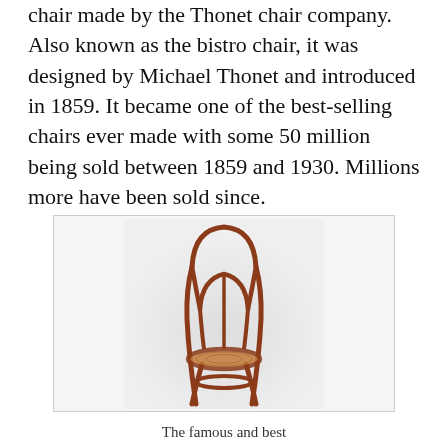chair made by the Thonet chair company. Also known as the bistro chair, it was designed by Michael Thonet and introduced in 1859. It became one of the best-selling chairs ever made with some 50 million being sold between 1859 and 1930. Millions more have been sold since.
[Figure (photo): Photograph of the famous Thonet No 14 bentwood chair, shown against a light grey background. The chair has a round back, curved bentwood frame in reddish-brown color, and a cane seat.]
The famous and best selling No 14 chair